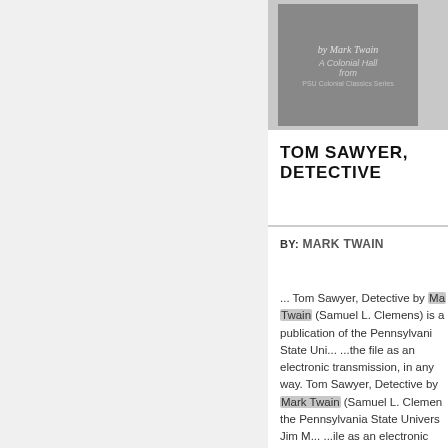[Figure (illustration): Book cover image for Tom Sawyer Detective by Mark Twain, shown as a grey book cover thumbnail]
TOM SAWYER, DETECTIVE
BY: MARK TWAIN
... Tom Sawyer, Detective by Mark Twain (Samuel L. Clemens) is a publication of the Pennsylvania State Uni... ...the file as an electronic transmission, in any way. Tom Sawyer, Detective by Mark Twain (Samuel L. Clemens) the Pennsylvania State Univers... Jim M... ...ile as an electronic transmission, in any way. Tom Sawyer, Detective by Mark Twa...